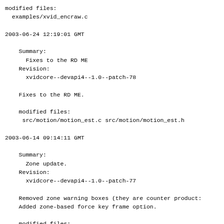modified files:
  examples/xvid_encraw.c
2003-06-24 12:19:01 GMT

    Summary:
      Fixes to the RD ME
    Revision:
      xvidcore--devapi4--1.0--patch-78

    Fixes to the RD ME.

    modified files:
     src/motion/motion_est.c src/motion/motion_est.h
2003-06-14 09:14:11 GMT

    Summary:
      Zone update.
    Revision:
      xvidcore--devapi4--1.0--patch-77

    Removed zone warning boxes (they are counter product:
    Added zone-based force key frame option.

    modified files:
     vfw/src/codec.c vfw/src/config.c vfw/src/config.h
     vfw/src/config.rc vfw/src/resource.h